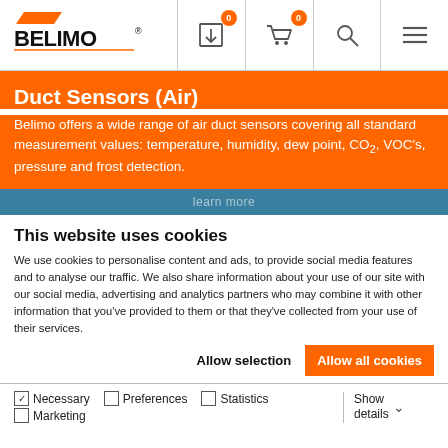[Figure (logo): BELIMO logo with orange diagonal stripes above bold black BELIMO text]
Duct Sensors (Air)
Belimo offers a wide range of air duct sensors covering all standard measurement values: temperature, humidity, dew point, CO₂, VOC's, pressure and frost detection.
This website uses cookies
We use cookies to personalise content and ads, to provide social media features and to analyse our traffic. We also share information about your use of our site with our social media, advertising and analytics partners who may combine it with other information that you've provided to them or that they've collected from your use of their services.
Allow selection | Allow all cookies
Necessary  Preferences  Statistics  Marketing  Show details